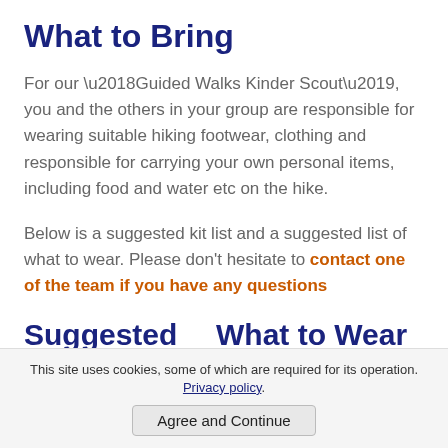What to Bring
For our ‘Guided Walks Kinder Scout’, you and the others in your group are responsible for wearing suitable hiking footwear, clothing and responsible for carrying your own personal items, including food and water etc on the hike.
Below is a suggested kit list and a suggested list of what to wear. Please don’t hesitate to contact one of the team if you have any questions
Suggested Kit List
What to Wear
Hiking shoes or hiking
This site uses cookies, some of which are required for its operation. Privacy policy.
Agree and Continue